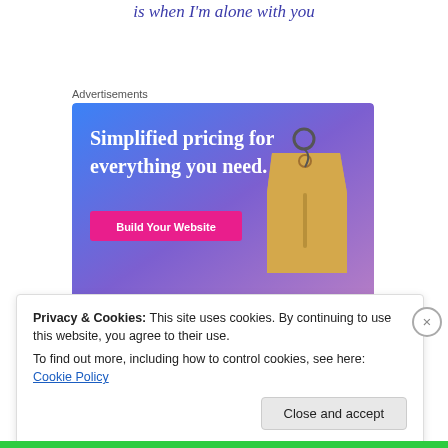is when I'm alone with you
Advertisements
[Figure (illustration): Advertisement banner with gradient blue-purple background showing 'Simplified pricing for everything you need.' headline, a pink 'Build Your Website' button, and a tan price tag hanging on the right side.]
Privacy & Cookies: This site uses cookies. By continuing to use this website, you agree to their use.
To find out more, including how to control cookies, see here: Cookie Policy
Close and accept